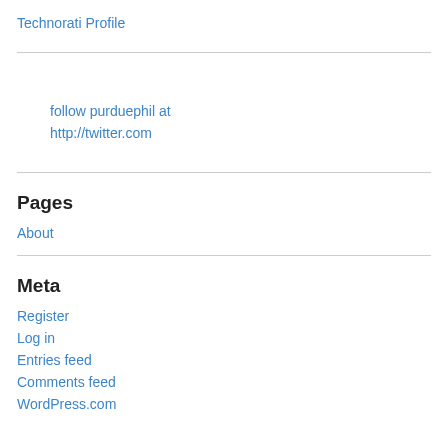Technorati Profile
follow purduephil at http://twitter.com
Pages
About
Meta
Register
Log in
Entries feed
Comments feed
WordPress.com